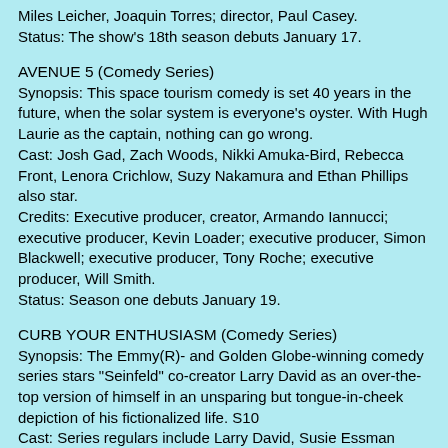Miles Leicher, Joaquin Torres; director, Paul Casey.
Status: The show's 18th season debuts January 17.
AVENUE 5 (Comedy Series)
Synopsis: This space tourism comedy is set 40 years in the future, when the solar system is everyone's oyster. With Hugh Laurie as the captain, nothing can go wrong.
Cast: Josh Gad, Zach Woods, Nikki Amuka-Bird, Rebecca Front, Lenora Crichlow, Suzy Nakamura and Ethan Phillips also star.
Credits: Executive producer, creator, Armando Iannucci; executive producer, Kevin Loader; executive producer, Simon Blackwell; executive producer, Tony Roche; executive producer, Will Smith.
Status: Season one debuts January 19.
CURB YOUR ENTHUSIASM (Comedy Series)
Synopsis: The Emmy(R)- and Golden Globe-winning comedy series stars "Seinfeld" co-creator Larry David as an over-the-top version of himself in an unsparing but tongue-in-cheek depiction of his fictionalized life. S10
Cast: Series regulars include Larry David, Susie Essman